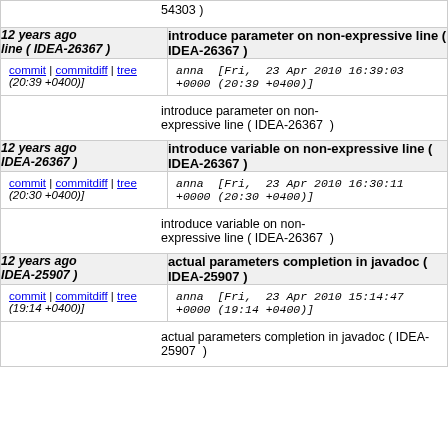54303 )
| 12 years ago
line ( IDEA-26367 ) | introduce parameter on non-expressive line ( IDEA-26367 ) |
| commit | commitdiff | tree
(20:39 +0400)] | anna [Fri, 23 Apr 2010 16:39:03 +0000 (20:39 +0400)] |
|  | introduce parameter on non-expressive line ( IDEA-26367 ) |
| 12 years ago
IDEA-26367 ) | introduce variable on non-expressive line ( IDEA-26367 ) |
| commit | commitdiff | tree
(20:30 +0400)] | anna [Fri, 23 Apr 2010 16:30:11 +0000 (20:30 +0400)] |
|  | introduce variable on non-expressive line ( IDEA-26367 ) |
| 12 years ago
IDEA-25907 ) | actual parameters completion in javadoc ( IDEA-25907 ) |
| commit | commitdiff | tree
(19:14 +0400)] | anna [Fri, 23 Apr 2010 15:14:47 +0000 (19:14 +0400)] |
|  | actual parameters completion in javadoc ( IDEA-25907 ) |